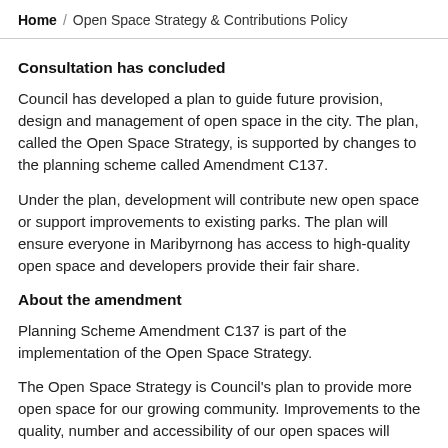Home / Open Space Strategy & Contributions Policy
Consultation has concluded
Council has developed a plan to guide future provision, design and management of open space in the city. The plan, called the Open Space Strategy, is supported by changes to the planning scheme called Amendment C137.
Under the plan, development will contribute new open space or support improvements to existing parks. The plan will ensure everyone in Maribyrnong has access to high-quality open space and developers provide their fair share.
About the amendment
Planning Scheme Amendment C137 is part of the implementation of the Open Space Strategy.
The Open Space Strategy is Council's plan to provide more open space for our growing community. Improvements to the quality, number and accessibility of our open spaces will enhance our city's liveability.